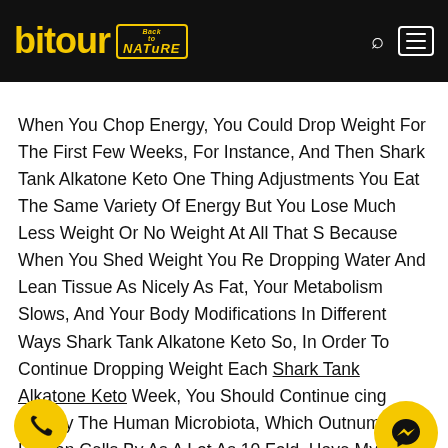[Figure (logo): Bitour Back to Nature logo in yellow on black header bar with search and menu icons]
When You Chop Energy, You Could Drop Weight For The First Few Weeks, For Instance, And Then Shark Tank Alkatone Keto One Thing Adjustments You Eat The Same Variety Of Energy But You Lose Much Less Weight Or No Weight At All That S Because When You Shed Weight You Re Dropping Water And Lean Tissue As Nicely As Fat, Your Metabolism Slows, And Your Body Modifications In Different Ways Shark Tank Alkatone Keto So, In Order To Continue Dropping Weight Each Shark Tank Alkatone Keto Week, You Should Continue cing Energy The Human Microbiota, Which Outnumber Human Cells By As A Lot As 10 Fold, Have Myriad Roles In Human Well Being